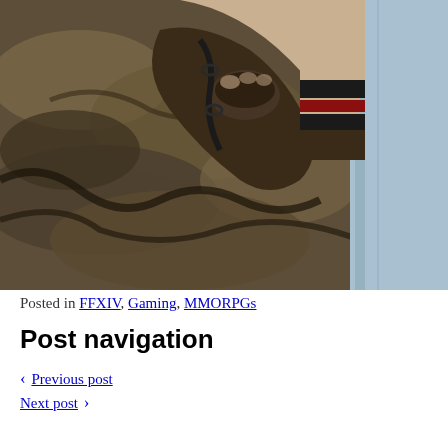[Figure (screenshot): A video game screenshot (FFXIV style) showing a character's gloved fist and arm with striped armband (beige with black and red stripes), wearing a light blue outfit, against a rocky stone wall background. Cropped to show the arm and hand area.]
Posted in FFXIV, Gaming, MMORPGs
Post navigation
< Previous post
Next post >